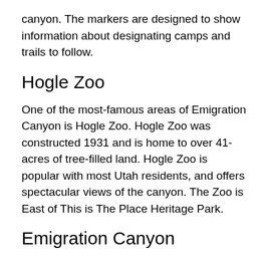canyon. The markers are designed to show information about designating camps and trails to follow.
Hogle Zoo
One of the most-famous areas of Emigration Canyon is Hogle Zoo. Hogle Zoo was constructed 1931 and is home to over 41-acres of tree-filled land. Hogle Zoo is popular with most Utah residents, and offers spectacular views of the canyon. The Zoo is East of This is The Place Heritage Park.
Emigration Canyon